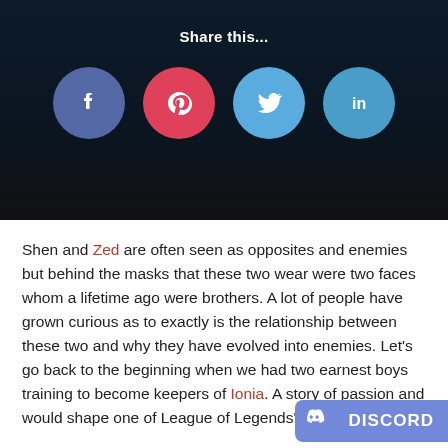Share this...
[Figure (infographic): Four social media share buttons: Facebook (purple-blue circle), Pinterest (red circle), Twitter (light blue circle), LinkedIn (blue circle)]
Shen and Zed are often seen as opposites and enemies but behind the masks that these two wear were two faces whom a lifetime ago were brothers. A lot of people have grown curious as to exactly is the relationship between these two and why they have evolved into enemies. Let’s go back to the beginning when we had two earnest boys training to become keepers of Ionia. A story of passion and would shape one of League of Legends’
[Figure (logo): Discord badge/button in purple with Discord logo and text DISCORD]